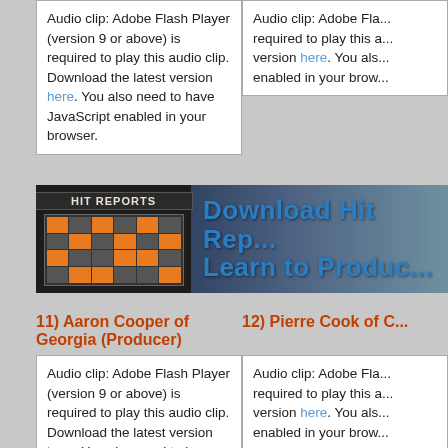Audio clip: Adobe Flash Player (version 9 or above) is required to play this audio clip. Download the latest version here. You also need to have JavaScript enabled in your browser.
Audio clip: Adobe Flash Player (version 9 or above) is required to play this audio clip. Download the latest version here. You also need to have JavaScript enabled in your browser. (clipped)
[Figure (illustration): Download Hit Reports / Learn to Produce banner ad with HIT REPORTS logo on left and blue bold text on right]
11) Aaron Cooper of Georgia (Producer)
12) Pierre Cook of C...
Audio clip: Adobe Flash Player (version 9 or above) is required to play this audio clip. Download the latest version here. You also need to have JavaScript enabled in your browser.
Audio clip: Adobe Flash Player (version 9 or above) is required to play this audio clip. Download the latest version here. You also need to have JavaScript enabled in your browser. (clipped)
13) Jerrin Howard of Texas (Producer)
14) Tony Astley of Ul...
Audio clip: Adobe Flash Player (version 9 or above) is required to play this audio clip. Download the latest version here. You also need to have JavaScript enabled in your browser.
Audio clip: Adobe Flash Player (version 9 or above) is required to play this audio clip. Download the latest version here. (clipped)